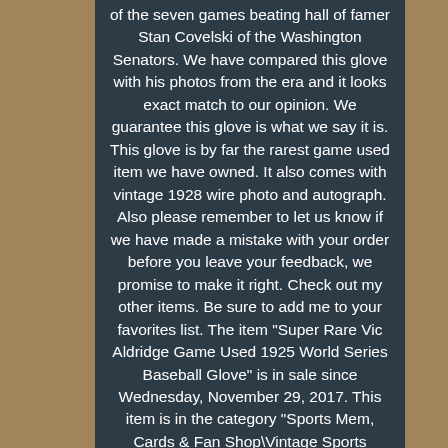of the seven games beating hall of famer Stan Covelski of the Washington Senators. We have compared this glove with his photos from the era and it looks exact match to our opinion. We guarantee this glove is what we say it is. This glove is by far the rarest game used item we have owned. It also comes with vintage 1928 wire photo and autograph. Also please remember to let us know if we have made a mistake with your order before you leave your feedback, we promise to make it right. Check out my other items. Be sure to add me to your favorites list. The item "Super Rare Vic Aldridge Game Used 1925 World Series Baseball Glove" is in sale since Wednesday, November 29, 2017. This item is in the category "Sports Mem, Cards & Fan Shop\Vintage Sports Memorabilia\Gloves-Baseball". The seller is "collectibles_1" and is located in Park Ridge, New Jersey.
This item can be shipped worldwide.